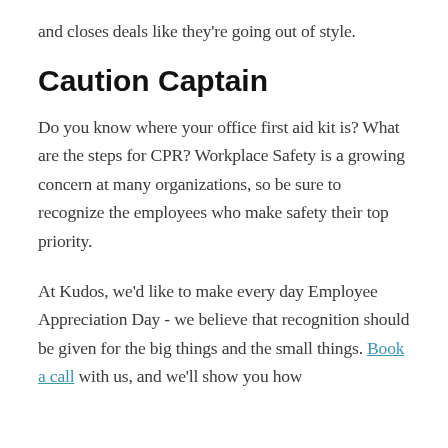and closes deals like they're going out of style.
Caution Captain
Do you know where your office first aid kit is? What are the steps for CPR? Workplace Safety is a growing concern at many organizations, so be sure to recognize the employees who make safety their top priority.
At Kudos, we'd like to make every day Employee Appreciation Day - we believe that recognition should be given for the big things and the small things. Book a call with us, and we'll show you how